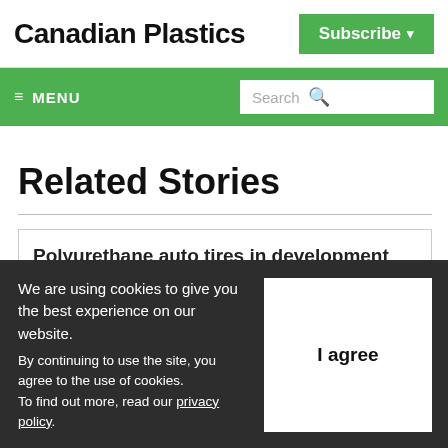Canadian Plastics
Subscribe ▾
≡ MENU
Search
Related Stories
Polyurethane auto tires in development
We are using cookies to give you the best experience on our website.
By continuing to use the site, you agree to the use of cookies.
To find out more, read our privacy policy.
I agree